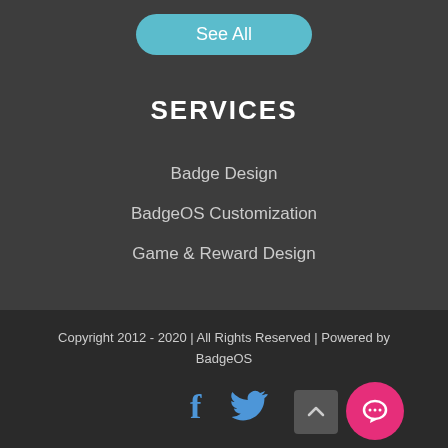See All
SERVICES
Badge Design
BadgeOS Customization
Game & Reward Design
Copyright 2012 - 2020 | All Rights Reserved | Powered by BadgeOS